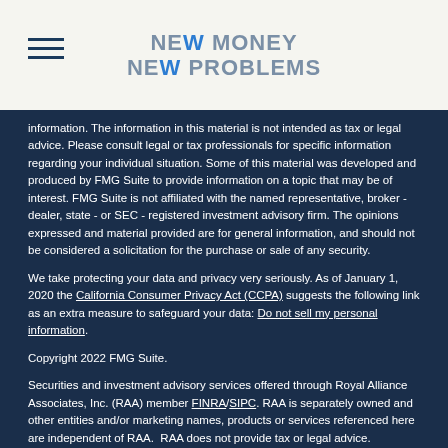NEW MONEY NEW PROBLEMS
information. The information in this material is not intended as tax or legal advice. Please consult legal or tax professionals for specific information regarding your individual situation. Some of this material was developed and produced by FMG Suite to provide information on a topic that may be of interest. FMG Suite is not affiliated with the named representative, broker - dealer, state - or SEC - registered investment advisory firm. The opinions expressed and material provided are for general information, and should not be considered a solicitation for the purchase or sale of any security.
We take protecting your data and privacy very seriously. As of January 1, 2020 the California Consumer Privacy Act (CCPA) suggests the following link as an extra measure to safeguard your data: Do not sell my personal information.
Copyright 2022 FMG Suite.
Securities and investment advisory services offered through Royal Alliance Associates, Inc. (RAA) member FINRA/SIPC. RAA is separately owned and other entities and/or marketing names, products or services referenced here are independent of RAA.  RAA does not provide tax or legal advice.
This communication is strictly intended for individuals residing in the states of: Alabama, California, Connecticut, Florida, Georgia, Maryland, Mississippi, South Carolina, Tennessee, Virginia. No offers may be made or accepted from any resident outside the specific states referenced.